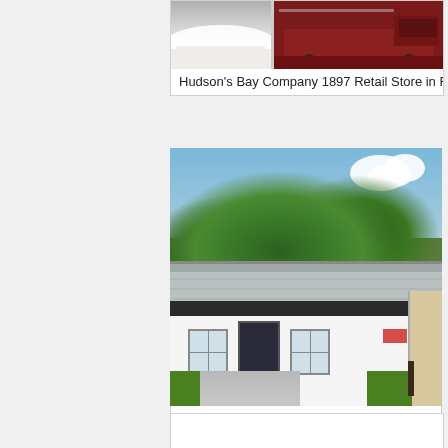Hudson’s Bay Company 1897 Retail Store in Fort Q
[Figure (photo): Exterior photograph of a small white historic building with a grey slate roof, dark door, two multi-pane windows, surrounded by large green trees, with a concrete driveway in front.]